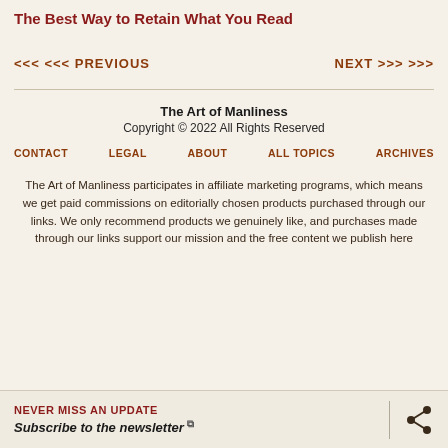The Best Way to Retain What You Read
<<< PREVIOUS
NEXT >>>
The Art of Manliness
Copyright © 2022 All Rights Reserved
CONTACT   LEGAL   ABOUT   ALL TOPICS   ARCHIVES
The Art of Manliness participates in affiliate marketing programs, which means we get paid commissions on editorially chosen products purchased through our links. We only recommend products we genuinely like, and purchases made through our links support our mission and the free content we publish here
NEVER MISS AN UPDATE
Subscribe to the newsletter